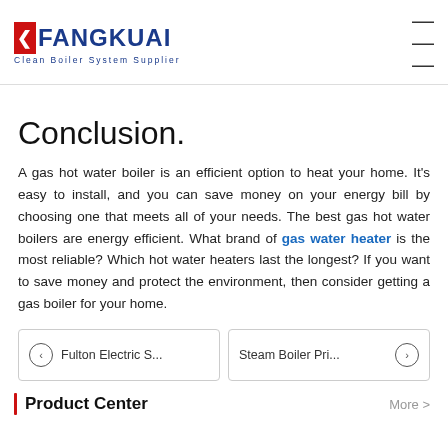FANGKUAI Clean Boiler System Supplier
Conclusion.
A gas hot water boiler is an efficient option to heat your home. It's easy to install, and you can save money on your energy bill by choosing one that meets all of your needs. The best gas hot water boilers are energy efficient. What brand of gas water heater is the most reliable? Which hot water heaters last the longest? If you want to save money and protect the environment, then consider getting a gas boiler for your home.
< Fulton Electric S...
Steam Boiler Pri... >
Product Center
More >